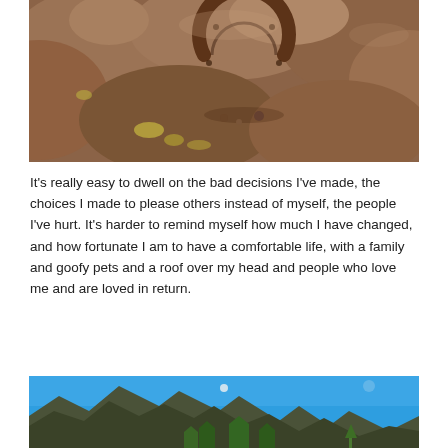[Figure (photo): Close-up photo of a rusty horseshoe resting among reddish-brown rocks with lichen]
It's really easy to dwell on the bad decisions I've made, the choices I made to please others instead of myself, the people I've hurt. It's harder to remind myself how much I have changed, and how fortunate I am to have a comfortable life, with a family and goofy pets and a roof over my head and people who love me and are loved in return.
[Figure (photo): Outdoor landscape photo showing rocky mountain peaks against a bright blue sky with green trees]